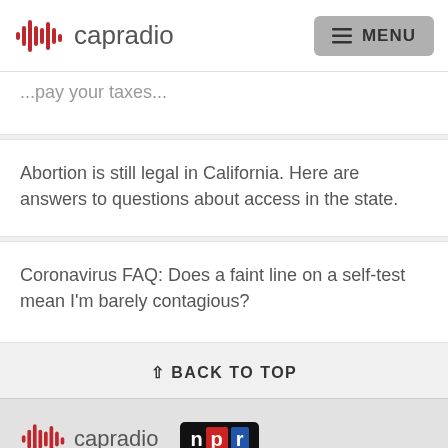capradio MENU
[partial text cut off at top]
Abortion is still legal in California. Here are answers to questions about access in the state.
Coronavirus FAQ: Does a faint line on a self-test mean I'm barely contagious?
↑ BACK TO TOP
capradio NPR 7055 Folsom Boulevard Sacramento, CA 95826-3625